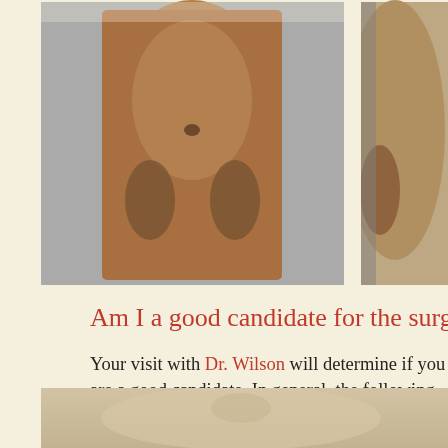[Figure (photo): Before/after medical photo showing lower torso, front view, two subjects side by side — left photo larger, right photo partially cropped]
Am I a good candidate for the surgery?
Your visit with Dr. Wilson will determine if you are a good candidate. In general, the following are guidelines for body contouring after massive weight loss, and this is an example of a patient:
[Figure (photo): Medical photo showing upper torso/chest of a male patient, front view, post-weight-loss body contouring candidate]